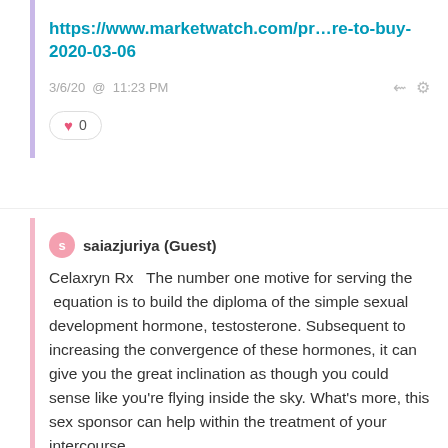https://www.marketwatch.com/pr…re-to-buy-2020-03-06
3/6/20 @ 11:23 PM
♥ 0
saiazjuriya (Guest)
Celaxryn Rx  The number one motive for serving the  equation is to build the diploma of the simple sexual development hormone, testosterone. Subsequent to increasing the convergence of these hormones, it can give you the great inclination as though you could sense like you're flying inside the sky. What's more, this sex sponsor can help within the treatment of your intercourse